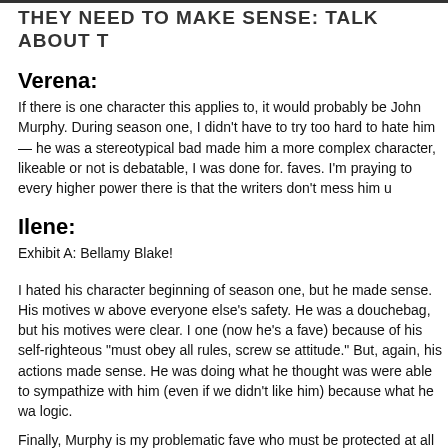THEY NEED TO MAKE SENSE: TALK ABOUT T
Verena:
If there is one character this applies to, it would probably be John Murphy. During season one, I didn't have to try too hard to hate him — he was a stereotypical bad made him a more complex character, likeable or not is debatable, I was done for. faves. I'm praying to every higher power there is that the writers don't mess him u
Ilene:
Exhibit A: Bellamy Blake!
I hated his character beginning of season one, but he made sense. His motives w above everyone else's safety. He was a douchebag, but his motives were clear. I one (now he's a fave) because of his self-righteous "must obey all rules, screw se attitude." But, again, his actions made sense. He was doing what he thought was were able to sympathize with him (even if we didn't like him) because what he wa logic.
Finally, Murphy is my problematic fave who must be protected at all costs... even ten seconds flat (and I agree with what Verena said).
Oh, and Pike is actually a terrible human, but he's a good character — his actions